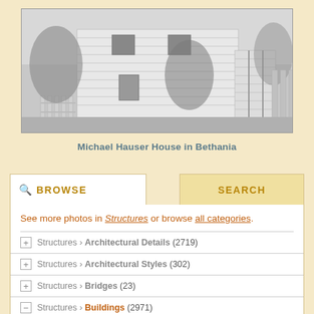[Figure (photo): Black and white photograph of the Michael Hauser House in Bethania, showing a two-story white clapboard house with a picket fence and trees surrounding it.]
Michael Hauser House in Bethania
See more photos in Structures or browse all categories.
Structures › Architectural Details (2719)
Structures › Architectural Styles (302)
Structures › Bridges (23)
Structures › Buildings (2971)